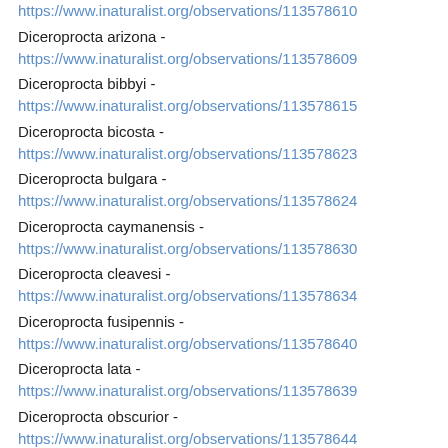https://www.inaturalist.org/observations/113578610
Diceroprocta arizona - https://www.inaturalist.org/observations/113578609
Diceroprocta bibbyi - https://www.inaturalist.org/observations/113578615
Diceroprocta bicosta - https://www.inaturalist.org/observations/113578623
Diceroprocta bulgara - https://www.inaturalist.org/observations/113578624
Diceroprocta caymanensis - https://www.inaturalist.org/observations/113578630
Diceroprocta cleavesi - https://www.inaturalist.org/observations/113578634
Diceroprocta fusipennis - https://www.inaturalist.org/observations/113578640
Diceroprocta lata - https://www.inaturalist.org/observations/113578639
Diceroprocta obscurior - https://www.inaturalist.org/observations/113578644
Diceroprocta ornea - https://www.inaturalist.org/observations/113578646
Diceroprocta austa -